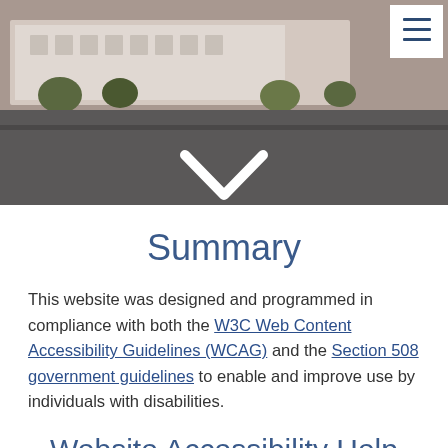[Figure (photo): Hero banner photo showing a building exterior with parking lot, dark asphalt in foreground, with a hamburger menu button in the top right corner and a downward chevron arrow at the bottom center.]
Summary
This website was designed and programmed in compliance with both the W3C Web Content Accessibility Guidelines (WCAG) and the Section 508 government guidelines to enable and improve use by individuals with disabilities.
Website Accessibility Help